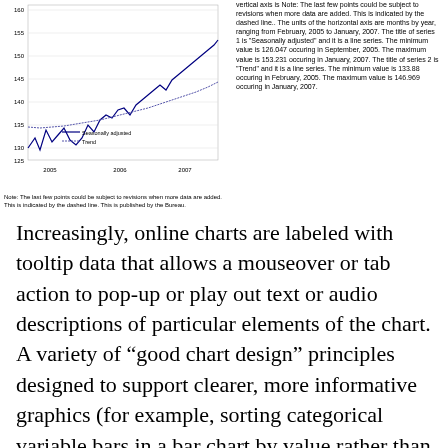[Figure (line-chart): Line chart with two series: Seasonally adjusted and Trend, horizontal axis months by year Feb 2005 to Jan 2007, vertical axis values approximately 126-154.]
Note: The last few points could be subject to revisions when more data are added. This is indicated by the dashed line.
vertical axis is Note: The last few points could be subject to revisions when more data are added. This is indicated by the dashed line.. The units of the horizontal axis are months by year, ranging from February, 2005 to January, 2007. The title of series 1 is "Seasonally adjusted" and it is a line series. The minimum value is 126.047 occuring in September, 2005. The maximum value is 153.231 occuring in January, 2007. The title of series 2 is "Trend" and it is a line series. The minimum value is 133.88 occuring in February, 2005. The maximum value is 146.969 occuring in January, 2007.
Increasingly, online charts are labeled with tooltip data that allows a mouseover or tab action to pop-up or play out text or audio descriptions of particular elements of the chart. A variety of “good chart design” principles designed to support clearer, more informative graphics (for example, sorting categorical variable bars in a bar chart by value rather than using an otherwise arbitrary alphabetic ordering) not only improves the quality of the graphic, it also makes a tabbed through audio